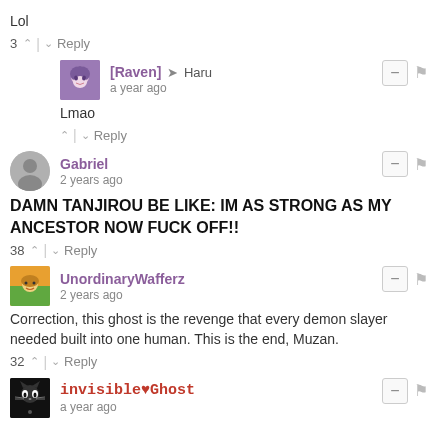Lol
3 ^ | v Reply
[Raven] → Haru · a year ago
Lmao
^ | v Reply
Gabriel · 2 years ago
DAMN TANJIROU BE LIKE: IM AS STRONG AS MY ANCESTOR NOW FUCK OFF!!
38 ^ | v Reply
UnordinaryWafferz · 2 years ago
Correction, this ghost is the revenge that every demon slayer needed built into one human. This is the end, Muzan.
32 ^ | v Reply
invisible♥Ghost · a year ago